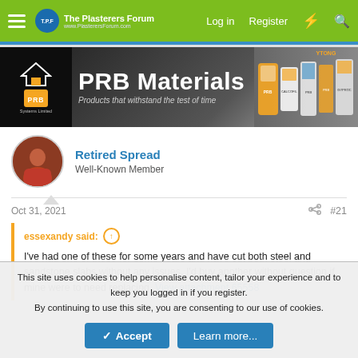The Plasterers Forum — Log in | Register
[Figure (infographic): PRB Materials banner advertisement: logo with house icon on left, large bold text 'PRB Materials', subtitle 'Products that withstand the test of time', product images on right]
Retired Spread
Well-Known Member
Oct 31, 2021  #21
essexandy said: ↑
I've had one of these for some years and have cut both steel and sandstone slabs without any issues. I'd buy another without question if mine were to need replacing. View attachment 65558
This site uses cookies to help personalise content, tailor your experience and to keep you logged in if you register.
By continuing to use this site, you are consenting to our use of cookies.